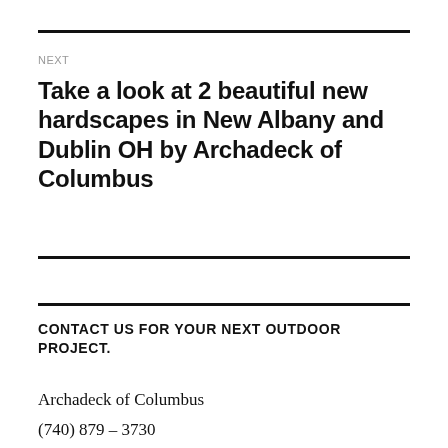NEXT
Take a look at 2 beautiful new hardscapes in New Albany and Dublin OH by Archadeck of Columbus
CONTACT US FOR YOUR NEXT OUTDOOR PROJECT.
Archadeck of Columbus
(740) 879 – 3730